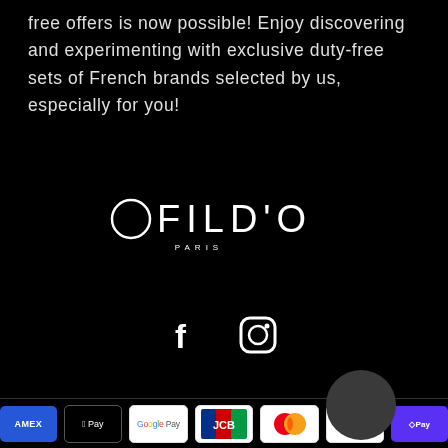free offers is now possible! Enjoy discovering and experimenting with exclusive duty-free sets of French brands selected by us, especially for you!
[Figure (logo): OFILD'O PARIS logo in white on black background]
[Figure (illustration): Facebook and Instagram social media icons in white]
[Figure (infographic): Payment method logos: American Express, Apple Pay, Google Pay, JCB, Mastercard, PayPal, Shop Pay, Visa]
© 2022, OFILDO · Shopify